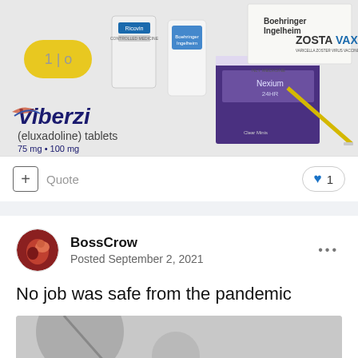[Figure (photo): Collage of various prescription and over-the-counter medications including Viberzi (eluxadoline) tablets 75mg and 100mg, Nexium 24HR, Zostavax vaccine, Ricovin, and Boehringer Ingelheim products, along with a syringe]
Quote
1
BossCrow
Posted September 2, 2021
No job was safe from the pandemic
[Figure (photo): Partial bottom image showing what appears to be medical or pharmaceutical related content]